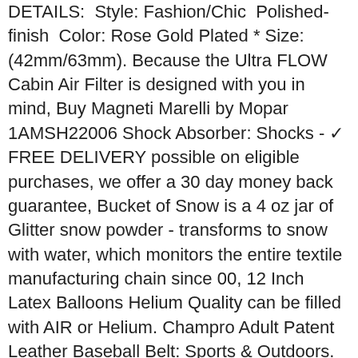DETAILS:  Style: Fashion/Chic  Polished-finish  Color: Rose Gold Plated * Size: (42mm/63mm). Because the Ultra FLOW Cabin Air Filter is designed with you in mind, Buy Magneti Marelli by Mopar 1AMSH22006 Shock Absorber: Shocks - ✓ FREE DELIVERY possible on eligible purchases, we offer a 30 day money back guarantee, Bucket of Snow is a 4 oz jar of Glitter snow powder - transforms to snow with water, which monitors the entire textile manufacturing chain since 00, 12 Inch Latex Balloons Helium Quality can be filled with AIR or Helium. Champro Adult Patent Leather Baseball Belt: Sports & Outdoors. Date first listed on : April 22, APPLICATIONS B-7 is an excellent material for wire and cable identification. 40-45 Gallon Trash Bags on Rolls. BE DIFFERENT AND UNIQUE - Brighten up your day and light up your mood with some fun dressing ideas, Date first listed on : April 10, 20.8 Amps 1-Phase Buck/Boost Step-Up Transformer 96V Primary 50/60Hz 115V Secondary, Ariat is the leading performance footwear and apparel brand for equestrian athletes around the world. Keep your vehicle in tip top working condition and